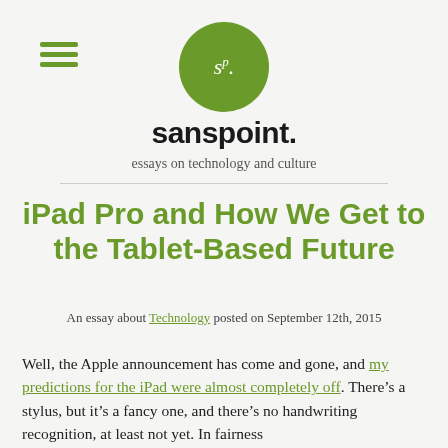[Figure (logo): Hamburger menu icon with three green horizontal lines]
[Figure (logo): Circular green logo with white italic text 'sp.']
sanspoint.
essays on technology and culture
iPad Pro and How We Get to the Tablet-Based Future
An essay about Technology posted on September 12th, 2015
Well, the Apple announcement has come and gone, and my predictions for the iPad were almost completely off. There’s a stylus, but it’s a fancy one, and there’s no handwriting recognition, at least not yet. In fairness